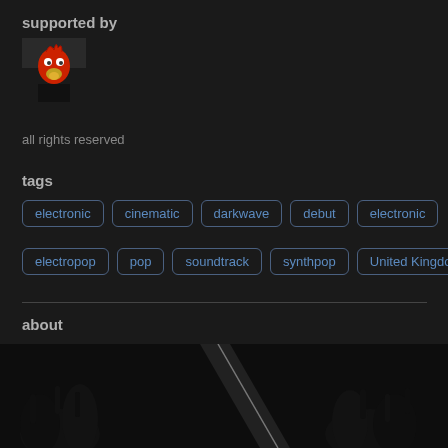supported by
[Figure (photo): User avatar showing person wearing a red chicken/bird mask]
all rights reserved
tags
electronic
cinematic
darkwave
debut
electronic
electropop
pop
soundtrack
synthpop
United Kingdom
about
[Figure (photo): Dark concert photo showing silhouettes of people with hands raised, with a diagonal light beam]